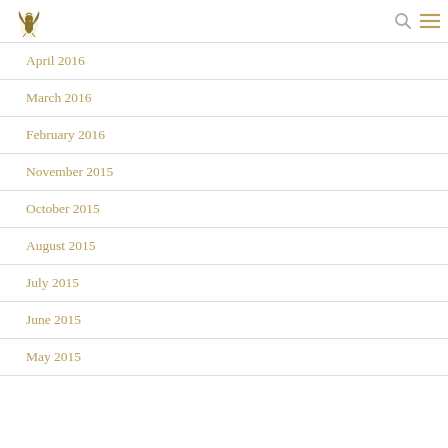[logo] [search] [menu]
April 2016
March 2016
February 2016
November 2015
October 2015
August 2015
July 2015
June 2015
May 2015